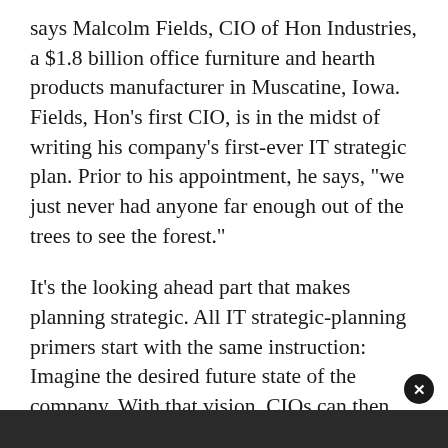says Malcolm Fields, CIO of Hon Industries, a $1.8 billion office furniture and hearth products manufacturer in Muscatine, Iowa. Fields, Hon's first CIO, is in the midst of writing his company's first-ever IT strategic plan. Prior to his appointment, he says, "we just never had anyone far enough out of the trees to see the forest."
It's the looking ahead part that makes planning strategic. All IT strategic-planning primers start with the same instruction: Imagine the desired future state of the company. With that vision, CIOs can then analyze the present state, compare the two to identify gaps, and start to draw a road map for closing those gaps and getting the company to the goal. Project prioritization, risk analysis, and an